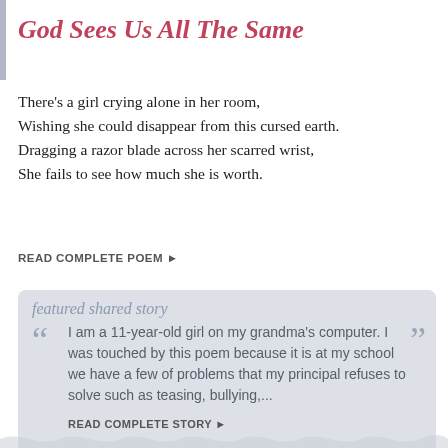God Sees Us All The Same
There's a girl crying alone in her room,
Wishing she could disappear from this cursed earth.
Dragging a razor blade across her scarred wrist,
She fails to see how much she is worth.
READ COMPLETE POEM ►
featured shared story
I am a 11-year-old girl on my grandma's computer. I was touched by this poem because it is at my school we have a few of problems that my principal refuses to solve such as teasing, bullying,...
READ COMPLETE STORY ►